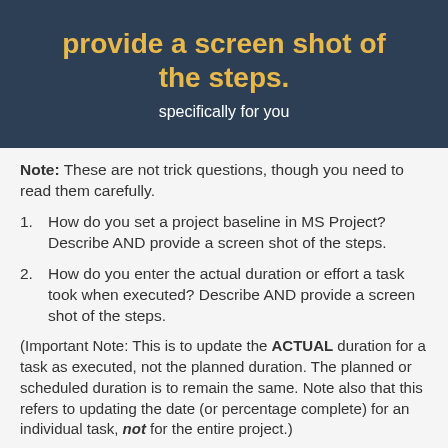provide a screen shot of the steps.
specifically for you
Note: These are not trick questions, though you need to read them carefully.
1. How do you set a project baseline in MS Project? Describe AND provide a screen shot of the steps.
2. How do you enter the actual duration or effort a task took when executed? Describe AND provide a screen shot of the steps.
(Important Note: This is to update the ACTUAL duration for a task as executed, not the planned duration. The planned or scheduled duration is to remain the same. Note also that this refers to updating the date (or percentage complete) for an individual task, not for the entire project.)